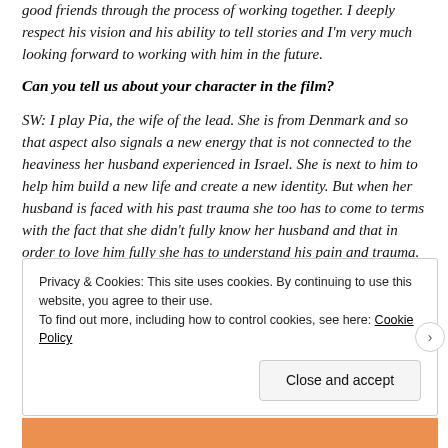good friends through the process of working together. I deeply respect his vision and his ability to tell stories and I'm very much looking forward to working with him in the future.
Can you tell us about your character in the film?
SW: I play Pia, the wife of the lead. She is from Denmark and so that aspect also signals a new energy that is not connected to the heaviness her husband experienced in Israel. She is next to him to help him build a new life and create a new identity. But when her husband is faced with his past trauma she too has to come to terms with the fact that she didn't fully know her husband and that in order to love him fully she has to understand his pain and trauma.
Privacy & Cookies: This site uses cookies. By continuing to use this website, you agree to their use.
To find out more, including how to control cookies, see here: Cookie Policy

Close and accept